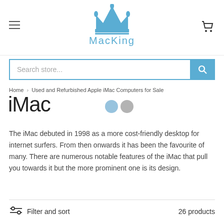[Figure (logo): MacKing logo with blue crown icon and text 'MacKing' in light blue]
Search store...
Home › Used and Refurbished Apple iMac Computers for Sale
iMac
The iMac debuted in 1998 as a more cost-friendly desktop for internet surfers. From then onwards it has been the favourite of many. There are numerous notable features of the iMac that pull you towards it but the more prominent one is its design.
Filter and sort   26 products